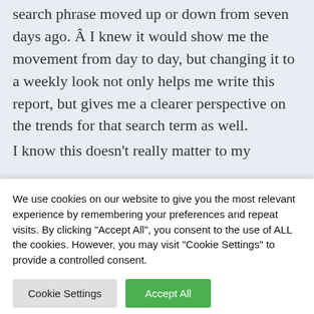search phrase moved up or down from seven days ago. Â I knew it would show me the movement from day to day, but changing it to a weekly look not only helps me write this report, but gives me a clearer perspective on the trends for that search term as well.

I know this doesn't really matter to my
We use cookies on our website to give you the most relevant experience by remembering your preferences and repeat visits. By clicking "Accept All", you consent to the use of ALL the cookies. However, you may visit "Cookie Settings" to provide a controlled consent.